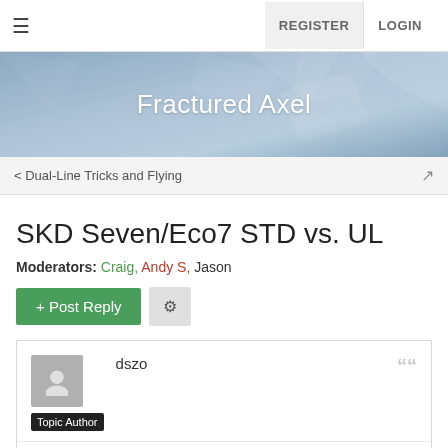REGISTER  LOGIN
Fractured Axel
< Dual-Line Tricks and Flying
SKD Seven/Eco7 STD vs. UL
Moderators: Craig, Andy S, Jason
+ Post Reply
dszo
Topic Author
6 years ago